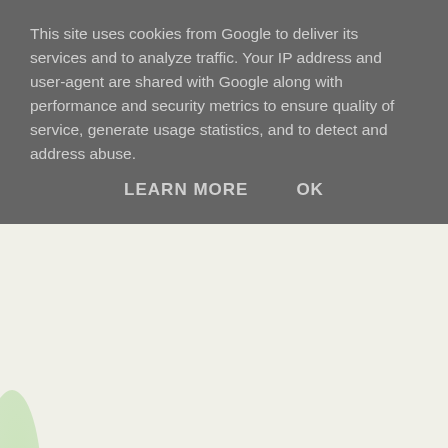This site uses cookies from Google to deliver its services and to analyze traffic. Your IP address and user-agent are shared with Google along with performance and security metrics to ensure quality of service, generate usage statistics, and to detect and address abuse.
LEARN MORE    OK
[Figure (photo): Japanese gaming magazine cover featuring Assassin's Creed IV Black Flag imagery, price tag 390, Japanese text, and Sengoku Basara branding at the bottom]
In the short interview, which I am su... YamamotoD and KobaP took the op... 100% of Sengoku Basara 4 even if t... with the series. Sengoku Basara 4 w... established characters to fit the earli... canon can be explained by viewing t... just as with previous games in the se... about details like certain warriors no... Sengoku period in the real world: the... that way is more interesting!
KobaP also specifically mentioned that next week's Busho Mats... information and showing unseen footage from the game, so we...